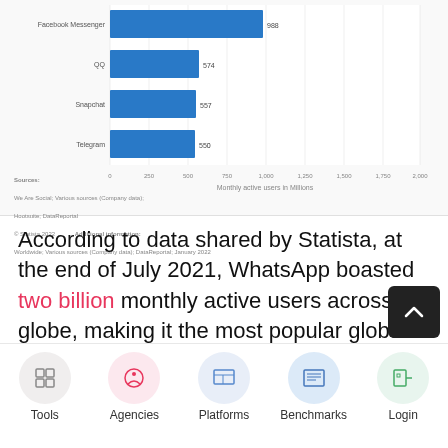[Figure (bar-chart): Monthly active users in millions]
Sources: We Are Social; Various sources (Company data); Hootsuite; DataReportal © Statista 2022 | Additional information: Worldwide; Various sources (Company data); DataReportal; January 2022
According to data shared by Statista, at the end of July 2021, WhatsApp boasted two billion monthly active users across the globe, making it the most popular global mobile messenger app. Basically, in a span of five years considerably rose its user base much...